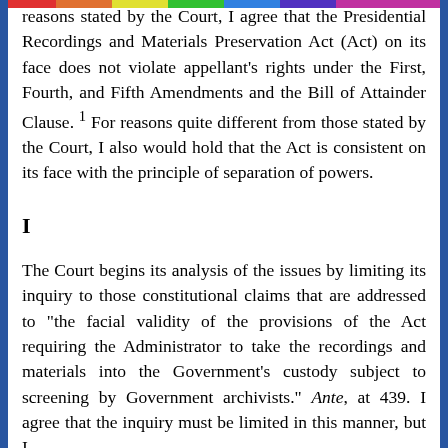reasons stated by the Court, I agree that the Presidential Recordings and Materials Preservation Act (Act) on its face does not violate appellant's rights under the First, Fourth, and Fifth Amendments and the Bill of Attainder Clause. 1 For reasons quite different from those stated by the Court, I also would hold that the Act is consistent on its face with the principle of separation of powers.
I
The Court begins its analysis of the issues by limiting its inquiry to those constitutional claims that are addressed to "the facial validity of the provisions of the Act requiring the Administrator to take the recordings and materials into the Government's custody subject to screening by Government archivists." Ante, at 439. I agree that the inquiry must be limited in this manner, but I